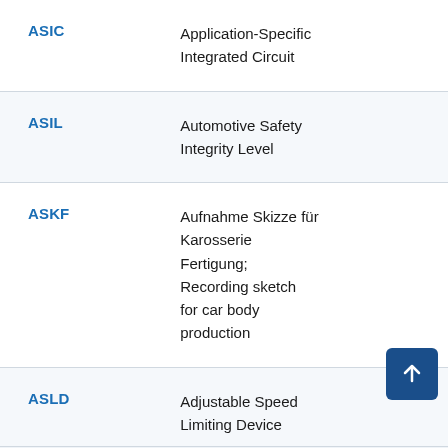| Abbreviation | Definition |
| --- | --- |
| ASIC | Application-Specific Integrated Circuit |
| ASIL | Automotive Safety Integrity Level |
| ASKF | Aufnahme Skizze für Karosserie Fertigung; Recording sketch for car body production |
| ASLD | Adjustable Speed Limiting Device |